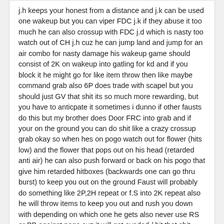j.h keeps your honest from a distance and j.k can be used one wakeup but you can viper FDC j.k if they abuse it too much he can also crossup with FDC j.d which is nasty too watch out of CH j.h cuz he can jump land and jump for an air combo for nasty damage his wakeup game should consist of 2K on wakeup into gatling for kd and if you block it he might go for like item throw then like maybe command grab also 6P does trade with scapel but you should just GV that shit its so much more rewarding, but you have to anticpate it sometimes i dunno if other fausts do this but my brother does Door FRC into grab and if your on the ground you can do shit like a crazy crossup grab okay so when hes on pogo watch out for flower (hits low) and the flower that pops out on his head (retarded anti air) he can also push forward or back on his pogo that give him retarded hitboxes (backwards one can go thru burst) to keep you out on the ground Faust will probably do something like 2P,2H repeat or f.S into 2K repeat also he will throw items to keep you out and rush you down with depending on which one he gets also never use RS or BB against pogo cuz it will get evaded / hit that shit doesn't work at all, flower hits and pogo evade rape it
VR-Raiden
Posted August 24, 2013